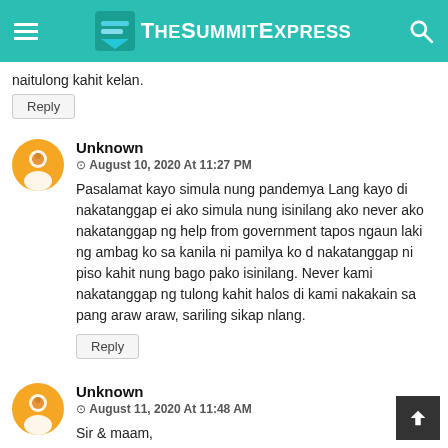TheSummitExpress
naitulong kahit kelan.
Reply
Unknown
© August 10, 2020 At 11:27 PM
Pasalamat kayo simula nung pandemya Lang kayo di nakatanggap ei ako simula nung isinilang ako never ako nakatanggap ng help from government tapos ngaun laki ng ambag ko sa kanila ni pamilya ko d nakatanggap ni piso kahit nung bago pako isinilang. Never kami nakatanggap ng tulong kahit halos di kami nakakain sa pang araw araw, sariling sikap nlang.
Reply
Unknown
© August 11, 2020 At 11:48 AM
Sir & maam,
Lahat po ba kmi mabibigyan ng dswd ako po pwede po hnd rin ako nakafill up po ano po gagawin kung paano